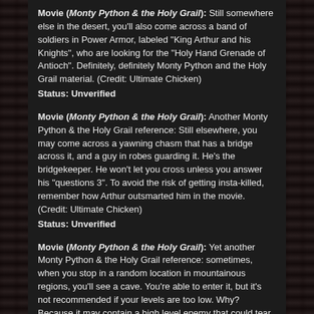Movie (Monty Python & the Holy Grail): Still somewhere else in the desert, you'll also come across a band of soldiers in Power Armor, labeled "King Arthur and his Knights", who are looking for the "Holy Hand Grenade of Antioch". Definitely, definitely Monty Python and the Holy Grail material. (Credit: Ultimate Chicken)
Status: Unverified
Movie (Monty Python & the Holy Grail): Another Monty Python & the Holy Grail reference: Still elsewhere, you may come across a yawning chasm that has a bridge across it, and a guy in robes guarding it. He's the bridgekeeper. He won't let you cross unless you answer his "questions 3". To avoid the risk of getting insta-killed, remember how Arthur outsmarted him in the movie. (Credit: Ultimate Chicken)
Status: Unverified
Movie (Monty Python & the Holy Grail): Yet another Monty Python & the Holy Grail reference: sometimes, when you stop in a random location in mountainous regions, you'll see a cave. You're able to enter it, but it's not recommended if your levels are too low. Why? Because it may contain a high level enemy that could tear your entire party to pieces in a few rounds. To complete the scene, you'll sometimes see a fallen Powered Armor guy or two around. I don't think you'd want to re-enact the "Great Beast of Arrgh" scenario, because no artist is going to die of a heart attack here to save you. (Credit: Ultimate Chicken)
Status: Unverified
Comics (Spider-Man): At some point after you get Cassidy, random text will appear over his head, one stating "My father named me after a